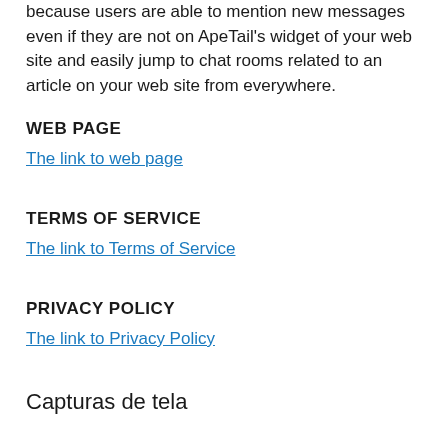because users are able to mention new messages even if they are not on ApeTail's widget of your web site and easily jump to chat rooms related to an article on your web site from everywhere.
WEB PAGE
The link to web page
TERMS OF SERVICE
The link to Terms of Service
PRIVACY POLICY
The link to Privacy Policy
Capturas de tela